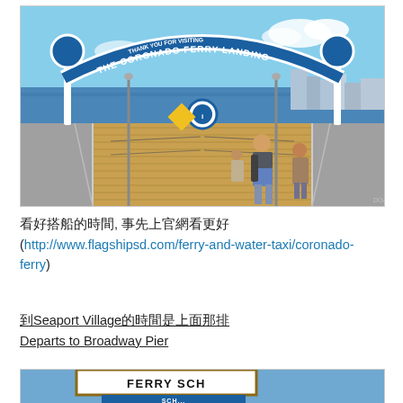[Figure (photo): Photo of the Coronado Ferry Landing pier with arch sign reading 'THANK YOU FOR VISITING THE CORONADO FERRY LANDING', people walking on a wooden boardwalk with ocean in background]
看好搭船的時間, 事先上官網看更好 (http://www.flagshipsd.com/ferry-and-water-taxi/coronado-ferry)
到Seaport Village的時間是上面那排 Departs to Broadway Pier
[Figure (photo): Partial photo of a ferry schedule sign with text 'FERRY SCH...' visible against a blue sky background]